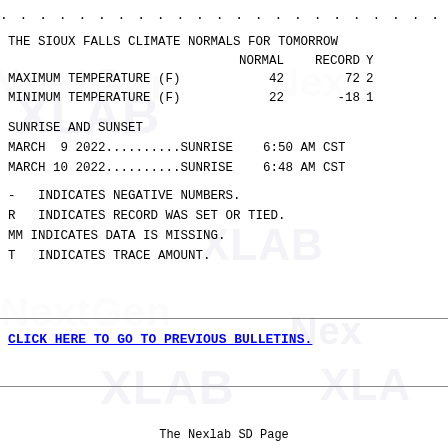. . . . . . . . . . . . . . . . . . . . . . . . . . . . . . . . . . . . . . . . . . . .
THE SIOUX FALLS CLIMATE NORMALS FOR TOMORROW
|  | NORMAL | RECORD | Y |
| --- | --- | --- | --- |
| MAXIMUM TEMPERATURE (F) | 42 | 72 | 2 |
| MINIMUM TEMPERATURE (F) | 22 | -18 | 1 |
SUNRISE AND SUNSET
MARCH  9 2022..........SUNRISE    6:50 AM CST
MARCH 10 2022..........SUNRISE    6:48 AM CST
-   INDICATES NEGATIVE NUMBERS.
R   INDICATES RECORD WAS SET OR TIED.
MM  INDICATES DATA IS MISSING.
T   INDICATES TRACE AMOUNT.
CLICK HERE TO GO TO PREVIOUS BULLETINS.
The Nexlab SD Page